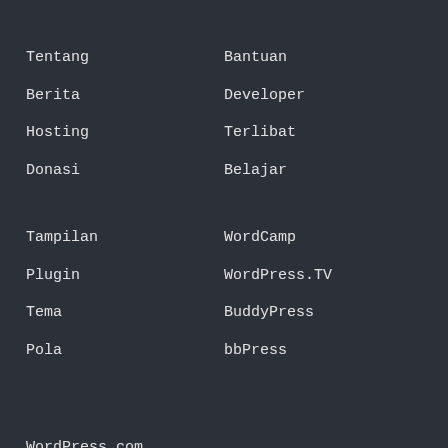Tentang
Bantuan
Berita
Developer
Hosting
Terlibat
Donasi
Belajar
Tampilan
WordCamp
Plugin
WordPress.TV
Tema
BuddyPress
Pola
bbPress
WordPress.com
Matt